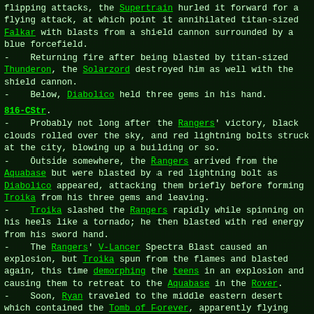flipping attacks, the Supertrain hurled it forward for a flying attack, at which point it annihilated titan-sized Falkar with blasts from a shield cannon surrounded by a blue forcefield.
- Returning fire after being blasted by titan-sized Thunderon, the Solarzord destroyed him as well with the shield cannon.
- Below, Diabolico held three gems in his hand.
816-CStr.
- Probably not long after the Rangers' victory, black clouds rolled over the sky, and red lightning bolts struck at the city, blowing up a building or so.
- Outside somewhere, the Rangers arrived from the Aquabase but were blasted by a red lightning bolt as Diabolico appeared, attacking them briefly before forming Troika from his three gems and leaving.
- Troika slashed the Rangers rapidly while spinning on his heels like a tornado; he then blasted with red energy from his sword hand.
- The Rangers' V-Lancer Spectra Blast caused an explosion, but Troika spun from the flames and blasted again, this time demorphing the teens in an explosion and causing them to retreat to the Aquabase in the Rover.
- Soon, Ryan traveled to the middle eastern desert which contained the Tomb of Forever, apparently flying there in the Solarzord.
- Downtown, Troika appeared and began shooting red blasts at people loitering below, making them flee; he then shot blasts at a glass skyscraper above, blowing